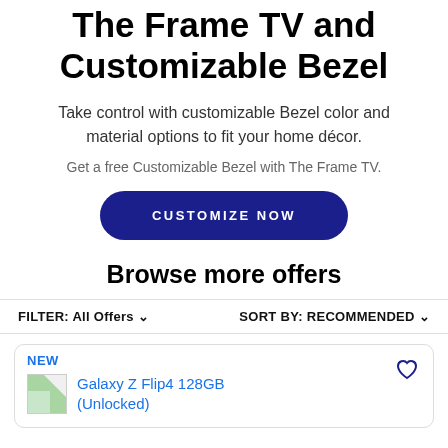The Frame TV and Customizable Bezel
Take control with customizable Bezel color and material options to fit your home décor.
Get a free Customizable Bezel with The Frame TV.
CUSTOMIZE NOW
Browse more offers
FILTER: All Offers   SORT BY: RECOMMENDED
NEW
Galaxy Z Flip4 128GB (Unlocked)